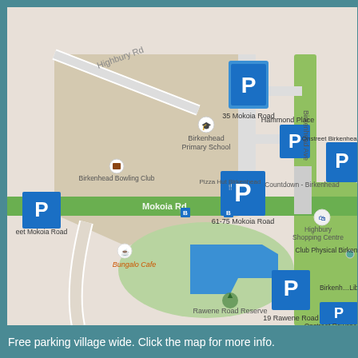[Figure (map): Street map of Birkenhead village area showing multiple parking locations (P) on Mokoia Road, Hammond Place, Rawene Road, and surrounding streets. Landmarks include Birkenhead Primary School, Birkenhead Bowling Club, Countdown Birkenhead, Pizza Hut Birkenhead, Highbury Shopping Centre, Club Physical Birkenhead, Bungalo Cafe, Rawene Road Reserve, and Birkenhead Library. Blue parking markers at: 35 Mokoia Road, Hammond Place, Onstreet Birkenhead Ave, 61-75 Mokoia Road, Onstreet Mokoia Road, 19 Rawene Road, Onstreet Rawene Road. Green strips indicate main road (Mokoia Road).]
Free parking village wide. Click the map for more info.